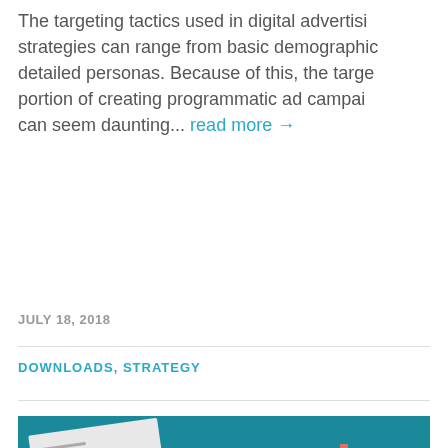The targeting tactics used in digital advertisi strategies can range from basic demographic detailed personas. Because of this, the targe portion of creating programmatic ad campai can seem daunting... read more →
JULY 18, 2018
DOWNLOADS, STRATEGY
[Figure (infographic): Teal background promotional banner showing a tilted document card labeled '2018 DIGITAL ADVERTISING TREND UPDATE' with a red accent stripe, and a coral/salmon download icon (arrow into tray) on the right. Bottom has text 'DOWNLOAD OUR FREE INFO']